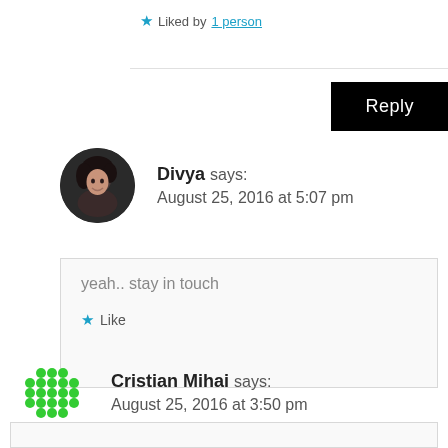★ Liked by 1 person
Reply
Divya says: August 25, 2016 at 5:07 pm
yeah.. stay in touch
★ Like
Cristian Mihai says: August 25, 2016 at 3:50 pm